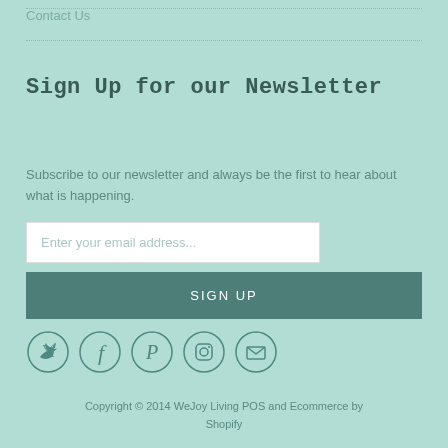Contact Us
Sign Up for our Newsletter
Subscribe to our newsletter and always be the first to hear about what is happening.
Enter your email address...
SIGN UP
[Figure (illustration): Row of five circular social media icons: Twitter, Facebook, Pinterest, Instagram, Email]
Copyright © 2014 WeJoy Living POS and Ecommerce by Shopify